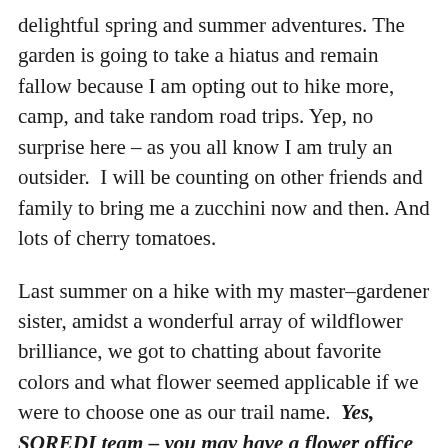delightful spring and summer adventures. The garden is going to take a hiatus and remain fallow because I am opting out to hike more, camp, and take random road trips. Yep, no surprise here – as you all know I am truly an outsider.  I will be counting on other friends and family to bring me a zucchini now and then. And lots of cherry tomatoes.
Last summer on a hike with my master–gardener sister, amidst a wonderful array of wildflower brilliance, we got to chatting about favorite colors and what flower seemed applicable if we were to choose one as our trail name.  Yes, SOREDI team – you may have a flower office name in your future.